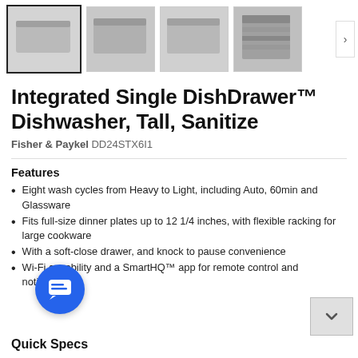[Figure (photo): Four product thumbnail images of a dishwasher drawer in grayscale, with navigation arrow on right]
Integrated Single DishDrawer™ Dishwasher, Tall, Sanitize
Fisher & Paykel DD24STX6I1
Features
Eight wash cycles from Heavy to Light, including Auto, 60min and Glassware
Fits full-size dinner plates up to 12 1/4 inches, with flexible racking for large cookware
With a soft-close drawer, and knock to pause convenience
Wi-Fi capability and a SmartHQ™ app for remote control and notifications
Quick Specs